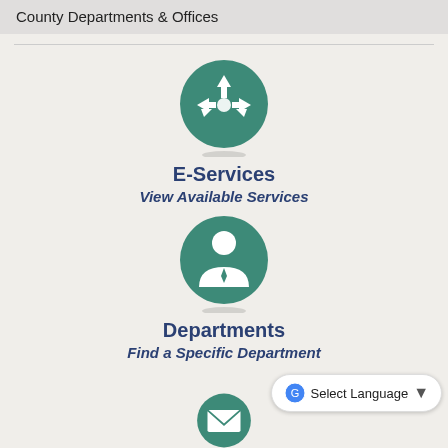County Departments & Offices
[Figure (illustration): Green circular icon with white directional arrows pointing up, left, and right (navigation/services icon)]
E-Services
View Available Services
[Figure (illustration): Green circular icon with white person/user silhouette wearing a tie (departments icon)]
Departments
Find a Specific Department
[Figure (illustration): Green circular icon with white envelope/mail icon (partially visible at bottom)]
Select Language